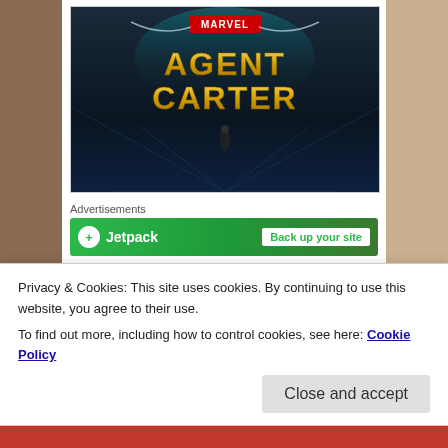[Figure (screenshot): Marvel Agent Carter TV show promotional image with dark blue cinematic background and golden title text]
Advertisements
[Figure (screenshot): Green Jetpack advertisement banner with 'Back up your site' call to action]
There have been shared universes before, between shows, between movies. Star Trek springs to mind. However, Star Trek had a pattern of TV show and then
Privacy & Cookies: This site uses cookies. By continuing to use this website, you agree to their use.
To find out more, including how to control cookies, see here: Cookie Policy
Close and accept